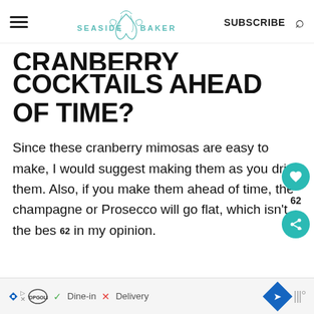SEASIDE BAKER | SUBSCRIBE
CRANBERRY COCKTAILS AHEAD OF TIME?
Since these cranberry mimosas are easy to make, I would suggest making them as you drink them. Also, if you make them ahead of time, the champagne or Prosecco will go flat, which isn't the bes in my opinion.